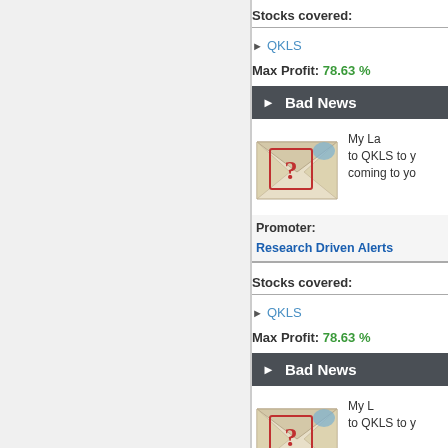Stocks covered:
▶ QKLS
Max Profit: 78.63 %
▶ Bad News
[Figure (illustration): Envelope with a question mark stamp]
My La... to QKLS to y... coming to yo...
Promoter: Research Driven Alerts
Stocks covered:
▶ QKLS
Max Profit: 78.63 %
▶ Bad News
[Figure (illustration): Envelope with a question mark stamp (partial)]
My L... to QKLS to y...